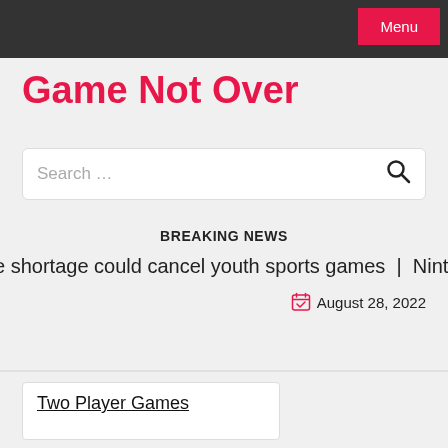Menu
Game Not Over
Search …
BREAKING NEWS
e shortage could cancel youth sports games  |  Nintendo Swi
August 28, 2022
Two Player Games